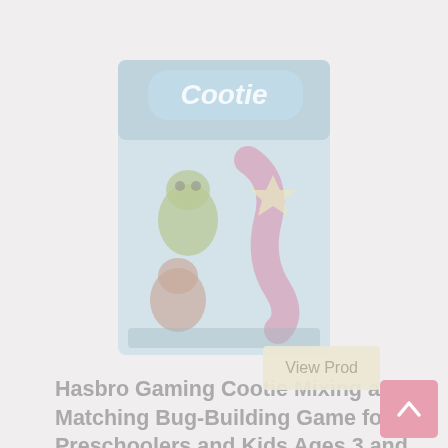[Figure (photo): Product image of Hasbro Gaming Cootie board game box showing colorful cartoon bug characters on a light blue/teal background with 'Cootie' text at the top]
Hasbro Gaming Cootie Mixing and Matching Bug-Building Game for Preschoolers and Kids Ages 3 and Up, for 2-4 Players
View Prod